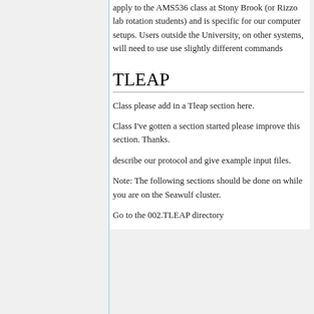apply to the AMS536 class at Stony Brook (or Rizzo lab rotation students) and is specific for our computer setups. Users outside the University, on other systems, will need to use use slightly different commands
TLEAP
Class please add in a Tleap section here.
Class I've gotten a section started please improve this section. Thanks.
describe our protocol and give example input files.
Note: The following sections should be done on while you are on the Seawulf cluster.
Go to the 002.TLEAP directory